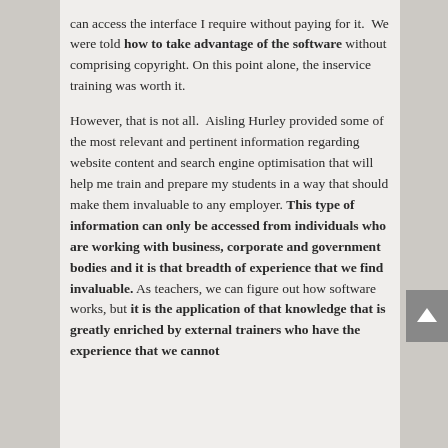can access the interface I require without paying for it. We were told how to take advantage of the software without comprising copyright. On this point alone, the inservice training was worth it.

However, that is not all. Aisling Hurley provided some of the most relevant and pertinent information regarding website content and search engine optimisation that will help me train and prepare my students in a way that should make them invaluable to any employer. This type of information can only be accessed from individuals who are working with business, corporate and government bodies and it is that breadth of experience that we find invaluable. As teachers, we can figure out how software works, but it is the application of that knowledge that is greatly enriched by external trainers who have the experience that we cannot